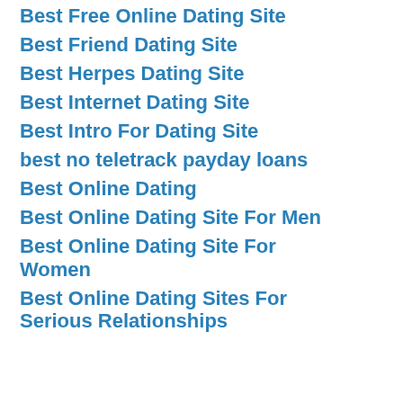Best Free Online Dating Site
Best Friend Dating Site
Best Herpes Dating Site
Best Internet Dating Site
Best Intro For Dating Site
best no teletrack payday loans
Best Online Dating
Best Online Dating Site For Men
Best Online Dating Site For Women
Best Online Dating Sites For Serious Relationships